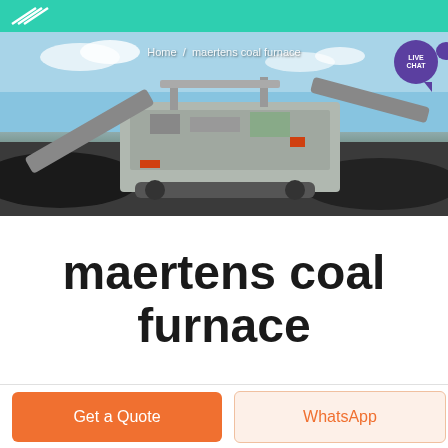maertens coal furnace - logo header with teal background
[Figure (photo): Industrial mining/crushing equipment (large mobile crusher/screener) on a site with coal/aggregate piles, blue sky background. Breadcrumb text: 'Home / maertens coal furnace'. Live Chat purple speech bubble in top-right.]
maertens coal furnace
Get a Quote
WhatsApp